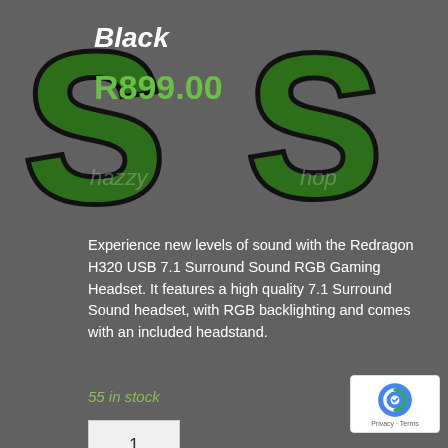[Figure (logo): Green and black stylized 'SS' logo letters (ShazzyShop branding) on dark grey background]
Black
R899.00
Experience new levels of sound with the Redragon H320 USB 7.1 Surround Sound RGB Gaming Headset. It features a high quality 7.1 Surround Sound headset, with RGB backlighting and comes with an included headstand.
55 in stock
1
Add to basket
SKU: RD-H320RGB-1 Categories: Accessories, Audio, Headsets